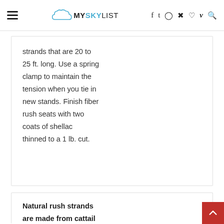MYSKYLIST
strands that are 20 to 25 ft. long. Use a spring clamp to maintain the tension when you tie in new stands. Finish fiber rush seats with two coats of shellac thinned to a 1 lb. cut.
Natural rush strands are made from cattail